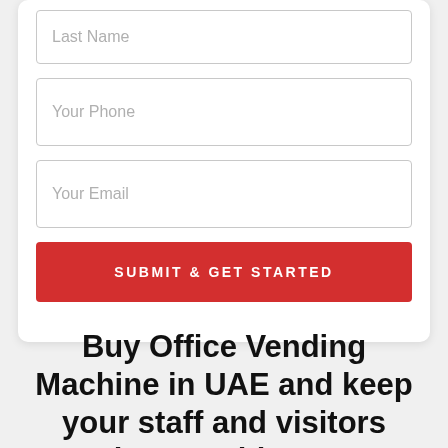[Figure (screenshot): Web form with Last Name, Your Phone, Your Email input fields and a red Submit & Get Started button]
Buy Office Vending Machine in UAE and keep your staff and visitors happy with our